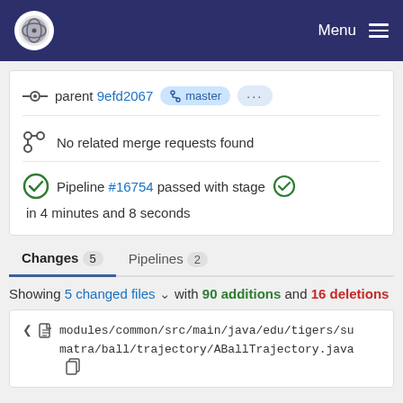Menu
parent 9efd2067 master ...
No related merge requests found
Pipeline #16754 passed with stage in 4 minutes and 8 seconds
Changes 5   Pipelines 2
Showing 5 changed files with 90 additions and 16 deletions
modules/common/src/main/java/edu/tigers/sumatra/ball/trajectory/ABallTrajectory.java